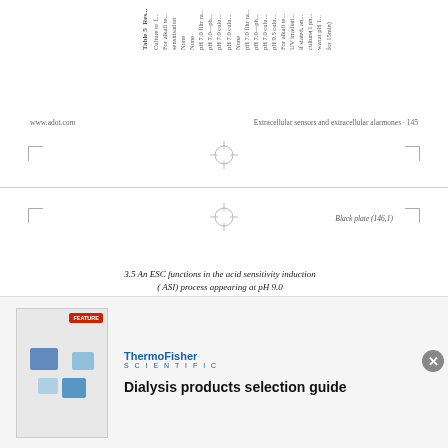| Culture or filtrate | For alkali sensitisation |
| --- | --- |
| None | None |
| pH 7.0 filtrate | pH 7.0-pH culn |
| pH 7.0 culture | pH 7.0 culn |
| pH 7.0 culture | pH 7.0 culn |
| None | None |
| pH 7.0 filtrate | pH 7.0-pH culn |
| pH 7.0 culture | pH 7.0 culn |
| pH 9.5 culture | pH 9.5 culn |
| For alkali test | UV irradiati |
| culture (1 pn) | if stated, an |
| waxat pH 1 | culture (1 pn) |
| for 15 min | waxat pH 1 |
www.adot.com    Extracellular sensors and extracellular alarmones  145
3.5  An ESC functions in the acid sensitivity induction (ASI) process appearing at pH 9.0
Organisms of strain 1157 grown at pH 9.0 or transferred from pH 7.0 to pH 9.0 are highly acid sensitive (Table 6). As previously demonstrated24 an EIC, or possibly more than one EIC, is present in filtrates from organisms grown at pH 9.0 (Table 6), since such filtrates, after neutralisation, can induce acid sensitivity if incubated with pH 7.0-grown cultures at pH 7.0. In contrast, filtrates from pH 7.0-grown cultures cannot induce this; they do, however, contain an ESC, since these filtrates gain the ability to induce acid
[Figure (other): Advertisement for ThermoFisher Scientific Dialysis products selection guide]